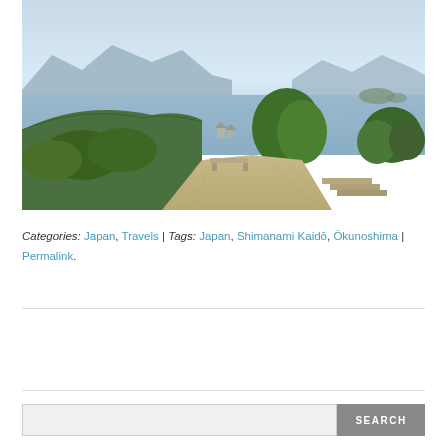[Figure (photo): Scenic outdoor photograph showing a stone bench on a paved overlook surrounded by green trees and shrubs, with a panoramic view of islands, mountains, and calm blue-grey sea water in the background under a hazy sky.]
Categories: Japan, Travels | Tags: Japan, Shimanami Kaidō, Ōkunoshima | Permalink.